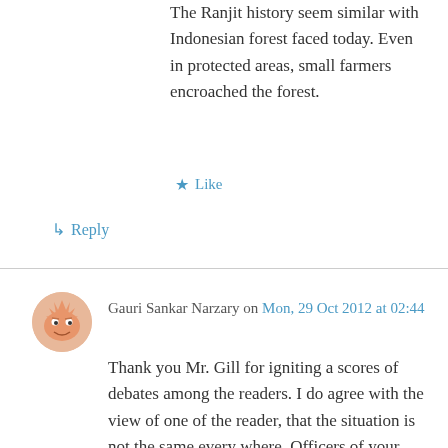The Ranjit history seem similar with Indonesian forest faced today. Even in protected areas, small farmers encroached the forest.
★ Like
↳ Reply
Gauri Sankar Narzary on Mon, 29 Oct 2012 at 02:44
Thank you Mr. Gill for igniting a scores of debates among the readers. I do agree with the view of one of the reader, that the situation is not the same every where. Officers of your taste is very much essential. Out here in Assam (Indo-Bhutan boarder) the land grabbing with the intention of getting ownership as per The Tribal and Forest Dwellers Act seems grim. Funny